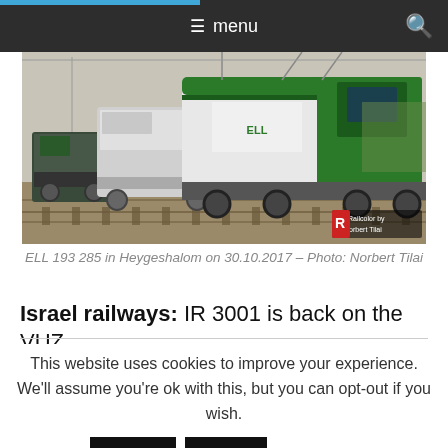menu
[Figure (photo): ELL 193 285 locomotive in green and white livery at Heygeshalom, with other locomotives visible in background on rail tracks. Watermark: Railcolor by Norbert Tilai]
ELL 193 285 in Heygeshalom on 30.10.2017 – Photo: Norbert Tilai
Israel railways: IR 3001 is back on the VUZ
This website uses cookies to improve your experience. We'll assume you're ok with this, but you can opt-out if you wish.